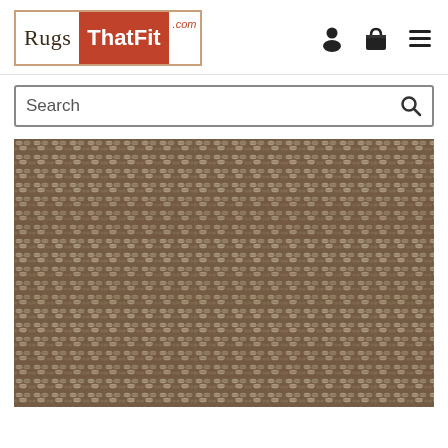RugsThatFit.com
[Figure (screenshot): Search bar with magnifying glass icon]
[Figure (photo): Close-up texture of a woven rug in brown and cream/beige tones, showing detailed weave pattern]